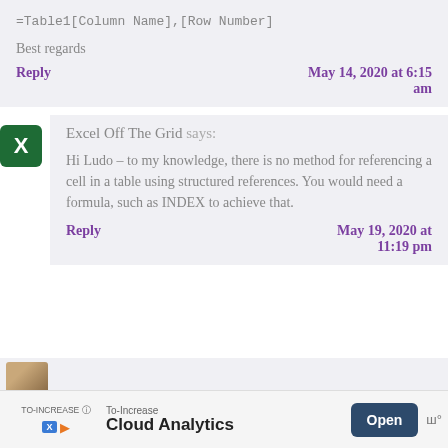=Table1[Column Name],[Row Number]
Best regards
Reply
May 14, 2020 at 6:15 am
Excel Off The Grid says:
Hi Ludo – to my knowledge, there is no method for referencing a cell in a table using structured references. You would need a formula, such as INDEX to achieve that.
Reply
May 19, 2020 at 11:19 pm
To-Increase Cloud Analytics
Open